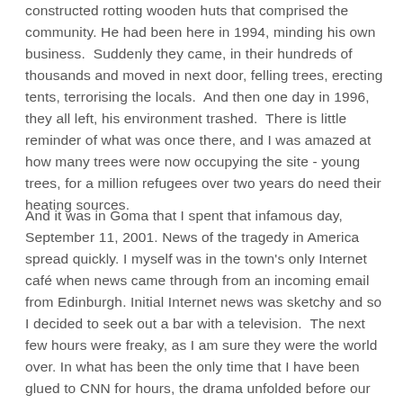constructed rotting wooden huts that comprised the community. He had been here in 1994, minding his own business.  Suddenly they came, in their hundreds of thousands and moved in next door, felling trees, erecting tents, terrorising the locals.  And then one day in 1996, they all left, his environment trashed.  There is little reminder of what was once there, and I was amazed at how many trees were now occupying the site - young trees, for a million refugees over two years do need their heating sources.
And it was in Goma that I spent that infamous day, September 11, 2001. News of the tragedy in America spread quickly. I myself was in the town's only Internet café when news came through from an incoming email from Edinburgh. Initial Internet news was sketchy and so I decided to seek out a bar with a television.  The next few hours were freaky, as I am sure they were the world over. In what has been the only time that I have been glued to CNN for hours, the drama unfolded before our disbelieving eyes, as we all downed more Primus, the local beer. Apart from the waiters, we were all